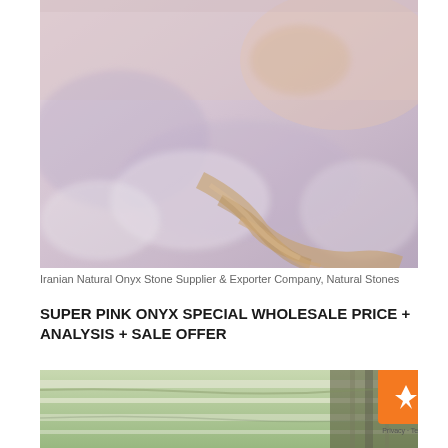[Figure (photo): Close-up photo of pink onyx stone with white, lavender, gray, and golden-brown mineral veining patterns]
Iranian Natural Onyx Stone Supplier & Exporter Company, Natural Stones
SUPER PINK ONYX SPECIAL WHOLESALE PRICE + ANALYSIS + SALE OFFER
[Figure (photo): Photo of green/white onyx stone slabs with visible layering and veining, partially visible at bottom of page]